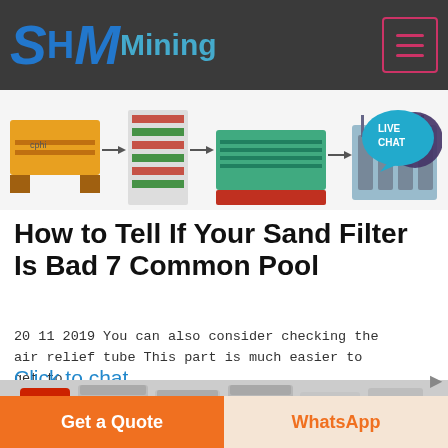SH MMining
[Figure (screenshot): Mining equipment product image strip showing various machines including spiral separators, shaking tables, and flotation cells]
[Figure (illustration): Live Chat speech bubble icon in teal/cyan color]
How to Tell If Your Sand Filter Is Bad 7 Common Pool
20 11 2019  You can also consider checking the air relief tube This part is much easier to get to
Click to chat
[Figure (photo): Industrial mining equipment photo showing large cylindrical metal silos or crushers]
Get a Quote
WhatsApp